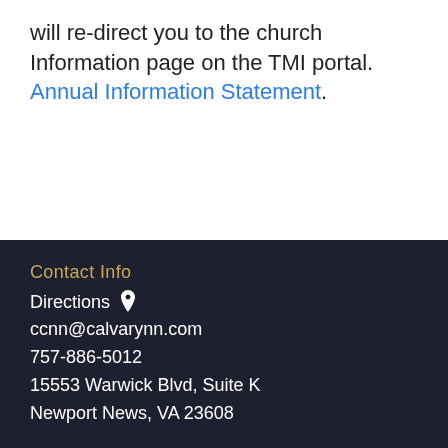will re-direct you to the church Information page on the TMI portal. Annual Information Statement.
Contact Info
Directions
ccnn@calvarynn.com
757-886-5012
15553 Warwick Blvd, Suite K
Newport News, VA 23608